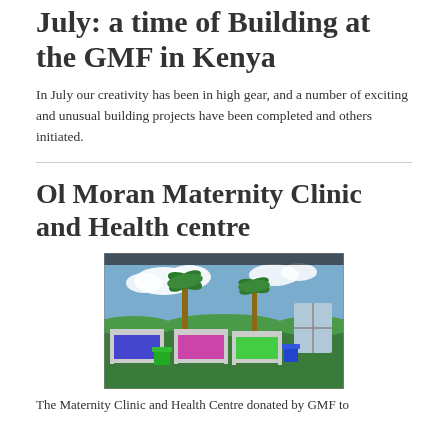July: a time of Building at the GMF in Kenya
In July our creativity has been in high gear, and a number of exciting and unusual building projects have been completed and others initiated.
Ol Moran Maternity Clinic and Health centre
[Figure (photo): Interior of a maternity clinic room showing metal hospital beds with blue and pink mattresses, plastic chairs, and a colorful mural of a landscape with palm trees and clouds painted on the wall. The room has a dark metal roof structure visible above.]
The Maternity Clinic and Health Centre donated by GMF to